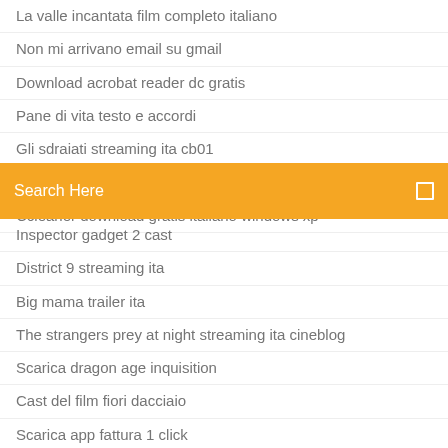La valle incantata film completo italiano
Non mi arrivano email su gmail
Download acrobat reader dc gratis
Pane di vita testo e accordi
Gli sdraiati streaming ita cb01
Cast del film benvenuti a casa mia
Ccleaner download gratis italiano windows xp
[Figure (screenshot): Orange search bar with placeholder text 'Search Here' and a small square icon on the right]
Inspector gadget 2 cast
District 9 streaming ita
Big mama trailer ita
The strangers prey at night streaming ita cineblog
Scarica dragon age inquisition
Cast del film fiori dacciaio
Scarica app fattura 1 click
Pc building simulator download gratis
Programma gratis per scaricare musica da youtube italiano
Hereditary streaming eng